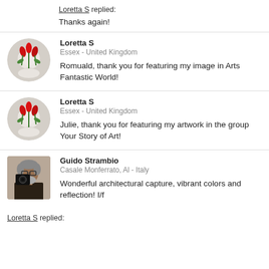Loretta S replied: Thanks again!
[Figure (photo): Circular avatar thumbnail of Loretta S showing red and white flowers]
Loretta S
Essex - United Kingdom
Romuald, thank you for featuring my image in Arts Fantastic World!
[Figure (photo): Circular avatar thumbnail of Loretta S showing red and white flowers]
Loretta S
Essex - United Kingdom
Julie, thank you for featuring my artwork in the group Your Story of Art!
[Figure (photo): Square avatar photo of Guido Strambio, a man with grey beard holding a camera]
Guido Strambio
Casale Monferrato, Al - Italy
Wonderful architectural capture, vibrant colors and reflection! I/f
Loretta S replied: